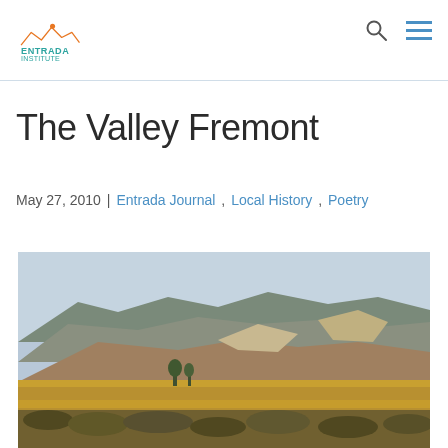Entrada Institute
The Valley Fremont
May 27, 2010 | Entrada Journal, Local History, Poetry
[Figure (illustration): Painting of a Western valley landscape with mesas, hills, golden prairie grasses and shrubs in the foreground under a pale sky — likely the Fremont River valley area.]